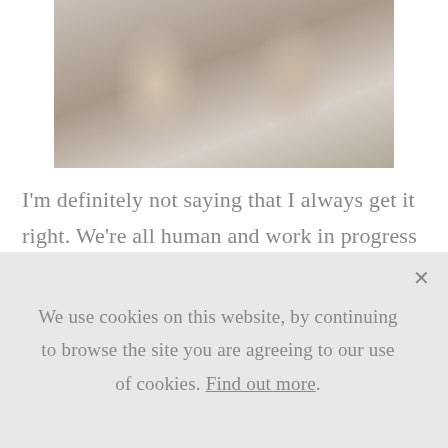[Figure (photo): A person with hands raised near their face/head, wearing a light blue shirt, photographed against a grey background. Only the hands, arms, and collar area are visible.]
I'm definitely not saying that I always get it right. We're all human and work in progress after all, but here's what I've learned about listening that's taken it to a whole different level
We use cookies on this website, by continuing to browse the site you are agreeing to our use of cookies. Find out more.